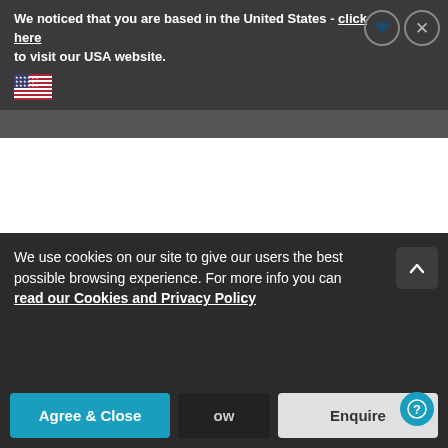We noticed that you are based in the United States - click here to visit our USA website.
We use cookies on our site to give our users the best possible browsing experience. For more info you can read our Cookies and Privacy Policy
Agree & Close
Enquire